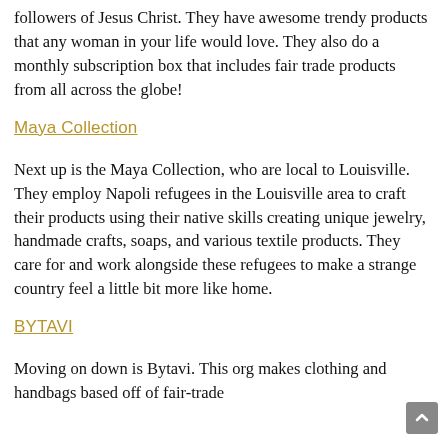followers of Jesus Christ. They have awesome trendy products that any woman in your life would love. They also do a monthly subscription box that includes fair trade products from all across the globe!
Maya Collection
Next up is the Maya Collection, who are local to Louisville. They employ Napoli refugees in the Louisville area to craft their products using their native skills creating unique jewelry, handmade crafts, soaps, and various textile products. They care for and work alongside these refugees to make a strange country feel a little bit more like home.
BYTAVI
Moving on down is Bytavi. This org makes clothing and handbags based off of fair-trade